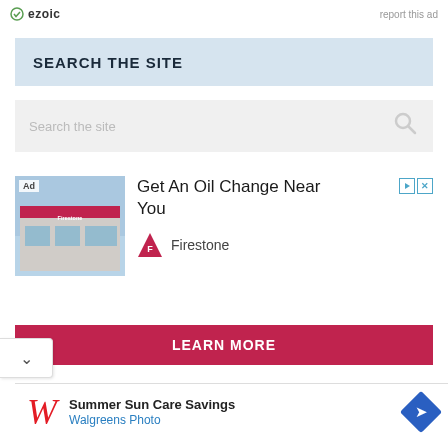[Figure (logo): Ezoic logo with green circle checkmark icon and 'ezoic' text]
report this ad
SEARCH THE SITE
Search the site
[Figure (photo): Ad: Firestone auto care store building exterior. Get An Oil Change Near You. Firestone brand logo.]
Get An Oil Change Near You
Firestone
LEARN MORE
[Figure (logo): Walgreens stylized W logo in red italic. Summer Sun Care Savings. Walgreens Photo. Blue diamond arrow icon.]
Summer Sun Care Savings
Walgreens Photo